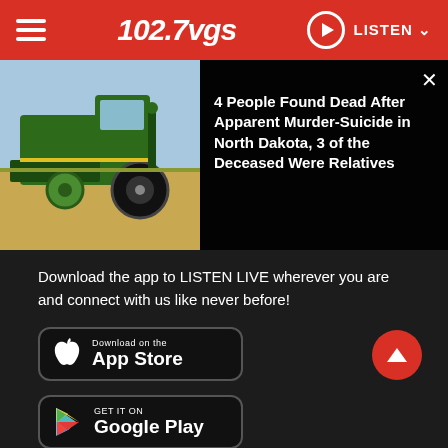102.7 VGS — LISTEN
[Figure (screenshot): News article thumbnail showing a green combine harvester in a field]
4 People Found Dead After Apparent Murder-Suicide in North Dakota, 3 of the Deceased Were Relatives
Download the app to LISTEN LIVE wherever you are and connect with us like never before!
[Figure (logo): Download on the App Store button]
[Figure (logo): Get it on Google Play button]